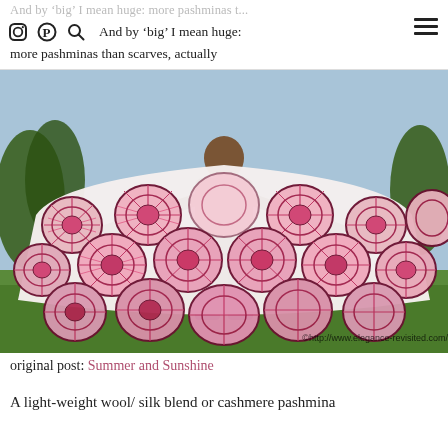And by 'big' I mean huge: more pashminas than scarves, actually
[Figure (photo): Person holding up a large white scarf/pashmina with pink and dark red circular floral/medallion pattern, photographed outdoors on a sunny day with green grass and trees in background. Watermark: ©http://www.elegance-revisited.com/]
original post: Summer and Sunshine
A light-weight wool/ silk blend or cashmere pashmina